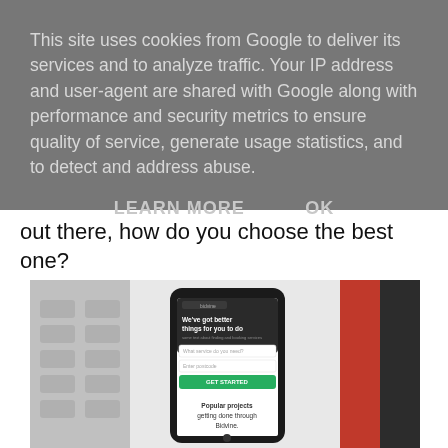This site uses cookies from Google to deliver its services and to analyze traffic. Your IP address and user-agent are shared with Google along with performance and security metrics to ensure quality of service, generate usage statistics, and to detect and address abuse.
LEARN MORE    OK
out there, how do you choose the best one?
[Figure (photo): A smartphone displaying the Bidvine website on its screen, lying on a white desk surface next to a keyboard on the left and a red and black book/folder on the right. The phone screen shows 'We've got better things for you to do' and 'Popular projects getting done through Bidvine'.]